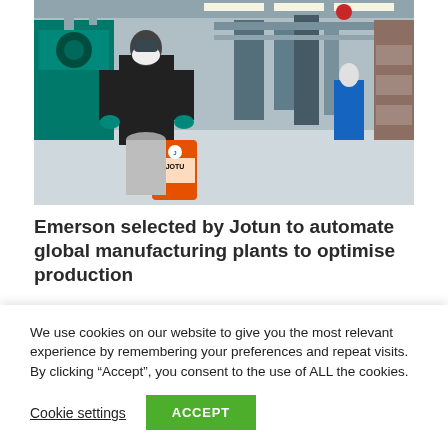[Figure (photo): A worker wearing a respirator mask and dark coveralls handles chemicals in an industrial manufacturing facility. Orange Jotun paint cans are visible in the foreground; machinery, pipes, and warehouse shelving fill the background.]
Emerson selected by Jotun to automate global manufacturing plants to optimise production efficiency
We use cookies on our website to give you the most relevant experience by remembering your preferences and repeat visits. By clicking “Accept”, you consent to the use of ALL the cookies.
Cookie settings
ACCEPT